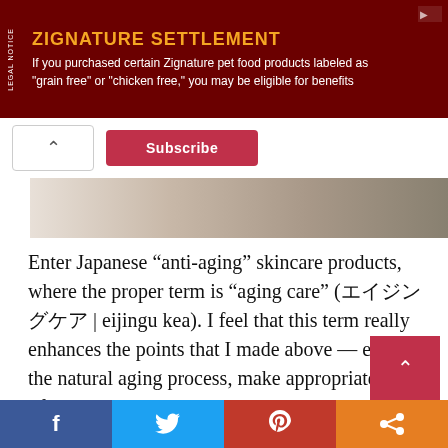[Figure (infographic): Legal notice advertisement banner with dark red background. Title: 'ZIGNATURE SETTLEMENT' in orange bold text. Body text: 'If you purchased certain Zignature pet food products labeled as "grain free" or "chicken free," you may be eligible for benefits'. Vertical 'LEGAL NOTICE' label on left side.]
[Figure (screenshot): Subscribe button in pink/red and a caret-up arrow button on white background]
[Figure (photo): Partial image strip showing a blurred/cropped photo with muted beige and brown tones]
Enter Japanese “anti-aging” skincare products, where the proper term is “aging care” (エイジングケア | eijingu kea). I feel that this term really enhances the points that I made above — embrace the natural aging process, make appropriate lifestyle changes, and gradually introduce skincare products that target specific concerns.
[Figure (infographic): Social sharing bar with four buttons: Facebook (blue), Twitter (light blue), Pinterest (red), Share (orange)]